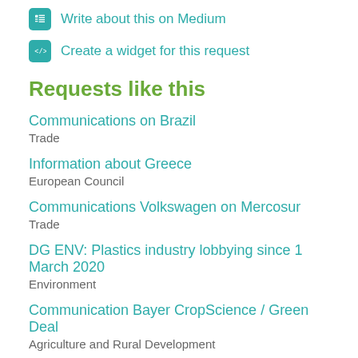Write about this on Medium
Create a widget for this request
Requests like this
Communications on Brazil
Trade
Information about Greece
European Council
Communications Volkswagen on Mercosur
Trade
DG ENV: Plastics industry lobbying since 1 March 2020
Environment
Communication Bayer CropScience / Green Deal
Agriculture and Rural Development